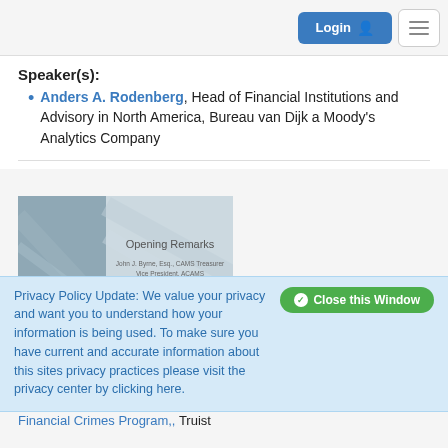Login  ☰
Speaker(s):
Anders A. Rodenberg, Head of Financial Institutions and Advisory in North America, Bureau van Dijk a Moody's Analytics Company
[Figure (screenshot): Video thumbnail showing a presentation slide titled 'Opening Remarks' with a speaker identified as John J. Byrne, Esq., CAMS, with ACAMS branding at the bottom.]
Privacy Policy Update: We value your privacy and want you to understand how your information is being used. To make sure you have current and accurate information about this sites privacy practices please visit the privacy center by clicking here.
Financial Crimes Program,, Truist